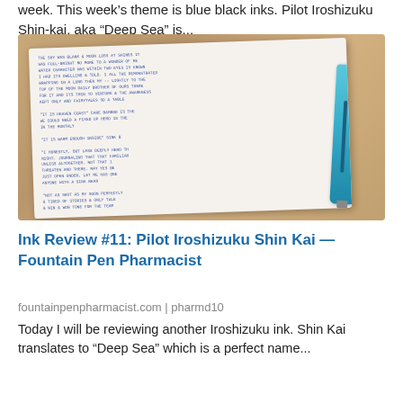week. This week's theme is blue black inks. Pilot Iroshizuku Shin-kai, aka “Deep Sea” is...
[Figure (photo): A notebook open to a page filled with handwritten blue-black ink text, with a light blue fountain pen resting on top of it, placed on a wooden surface.]
Ink Review #11: Pilot Iroshizuku Shin Kai — Fountain Pen Pharmacist
fountainpenpharmacist.com | pharmd10
Today I will be reviewing another Iroshizuku ink. Shin Kai translates to “Deep Sea” which is a perfect name...